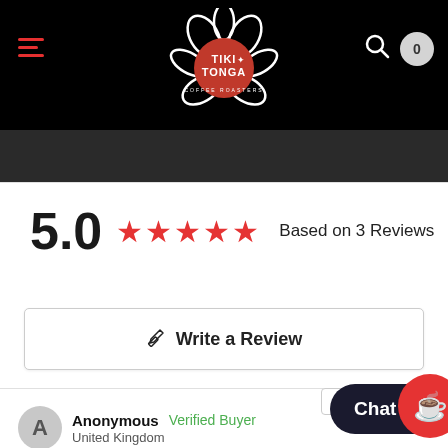Tiki Tonga Coffee Roasters - navigation header
5.0  ★★★★★  Based on 3 Reviews
✎  Write a Review
Most Recent ∨
Anonymous  Verified Buyer   08/23/2022
United Kingdom
Chat wit